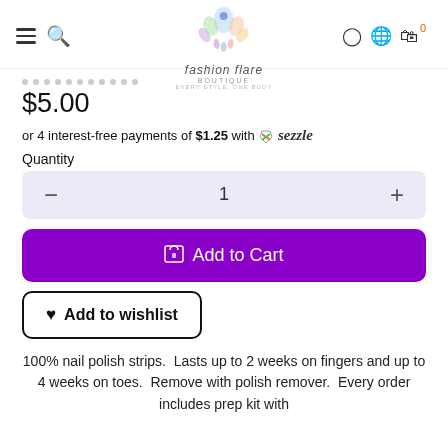Fashion Flare Boutique — navigation header with logo
$5.00
or 4 interest-free payments of $1.25 with Sezzle
Quantity
1
Add to Cart
Add to wishlist
100% nail polish strips.  Lasts up to 2 weeks on fingers and up to 4 weeks on toes.  Remove with polish remover.  Every order includes prep kit with